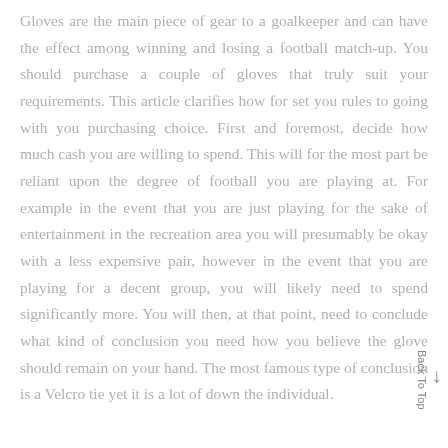Gloves are the main piece of gear to a goalkeeper and can have the effect among winning and losing a football match-up. You should purchase a couple of gloves that truly suit your requirements. This article clarifies how for set you rules to going with you purchasing choice. First and foremost, decide how much cash you are willing to spend. This will for the most part be reliant upon the degree of football you are playing at. For example in the event that you are just playing for the sake of entertainment in the recreation area you will presumably be okay with a less expensive pair, however in the event that you are playing for a decent group, you will likely need to spend significantly more. You will then, at that point, need to conclude what kind of conclusion you need how you believe the glove should remain on your hand. The most famous type of conclusion is a Velcro tie yet it is a lot of down the individual.